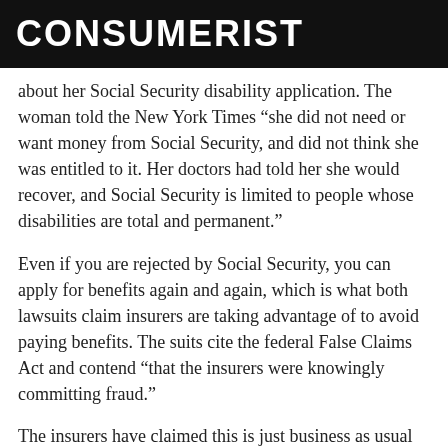CONSUMERIST
about her Social Security disability application. The woman told the New York Times “she did not need or want money from Social Security, and did not think she was entitled to it. Her doctors had told her she would recover, and Social Security is limited to people whose disabilities are total and permanent.”
Even if you are rejected by Social Security, you can apply for benefits again and again, which is what both lawsuits claim insurers are taking advantage of to avoid paying benefits. The suits cite the federal False Claims Act and contend “that the insurers were knowingly committing fraud.”
The insurers have claimed this is just business as usual and it’s their policy to require everyone to apply—a Cigna spokesperson disingenuously says, “Our goal is to ensure that each member receives all of the benefits to which he or she is entitled.” But a former Cigna employee who’s